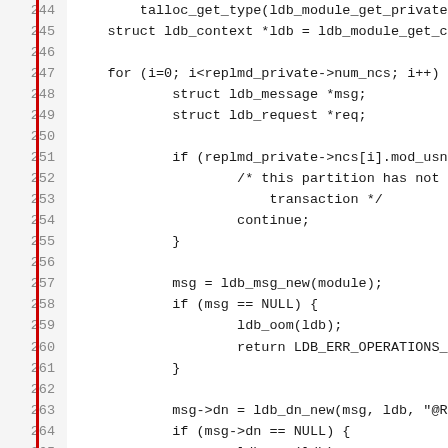[Figure (screenshot): Source code listing in C showing lines 244-275 of a file. Code includes talloc_get_type, ldb_module_get_ctx, a for loop over replmd_private->num_ncs, struct declarations, conditional checks for mod_usn and NULL, ldb_oom calls, return LDB_ERR_OPERATIONS_ERROR, msg->dn assignment, and ldb_msg_add_fmt call. A red vertical bar appears on the left side of the code area.]